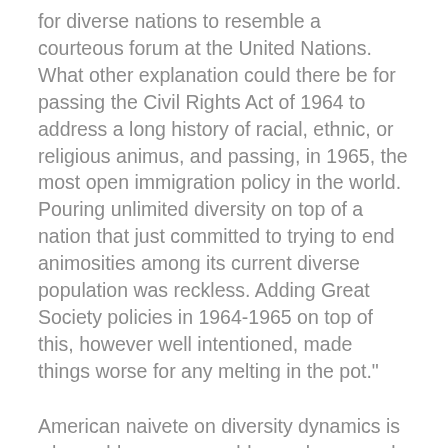for diverse nations to resemble a courteous forum at the United Nations. What other explanation could there be for passing the Civil Rights Act of 1964 to address a long history of racial, ethnic, or religious animus, and passing, in 1965, the most open immigration policy in the world. Pouring unlimited diversity on top of a nation that just committed to trying to end animosities among its current diverse population was reckless. Adding Great Society policies in 1964-1965 on top of this, however well intentioned, made things worse for any melting in the pot."
American naivete on diversity dynamics is why problems are unaddressed or wrongly addressed. "The year 1965 ends the long era of black and white America. Today, more than 25%